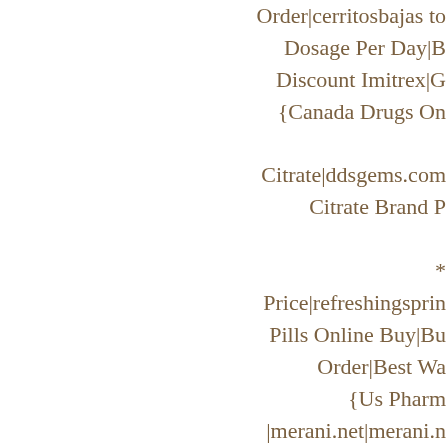Order|cerritosbajas to...
Dosage Per Day|B...
Discount Imitrex|G...
{Canada Drugs On...

Citrate|ddsgems.com...
Citrate Brand P...

*
Price|refreshingsprin...
Pills Online Buy|Bu...
Order|Best Wa...
{Us Pharm...
|merani.net|merani.n...
Generic Pills|Warfa...
Warfarin Buy|Onl...
{Synthroid Pr...
Prices|blueaxisusa.c...
Buy Online Usa|Sy...
Synthroid|Buy...
Cheap|Cheap Sy...